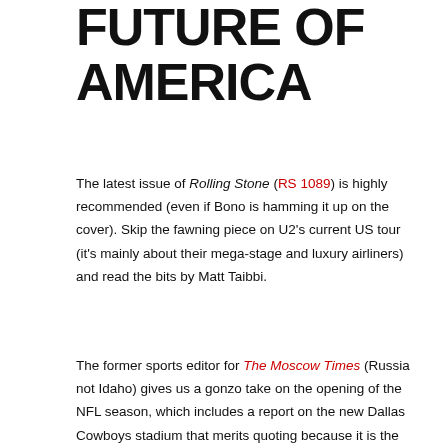FUTURE OF AMERICA
The latest issue of Rolling Stone (RS 1089) is highly recommended (even if Bono is hamming it up on the cover). Skip the fawning piece on U2's current US tour (it's mainly about their mega-stage and luxury airliners) and read the bits by Matt Taibbi.
The former sports editor for The Moscow Times (Russia not Idaho) gives us a gonzo take on the opening of the NFL season, which includes a report on the new Dallas Cowboys stadium that merits quoting because it is the best paragraph to appear in on a "sports page" in the 21st Century:
Dallas' opening home game against the Giants, in which their hideously commercialized mall palace known as the